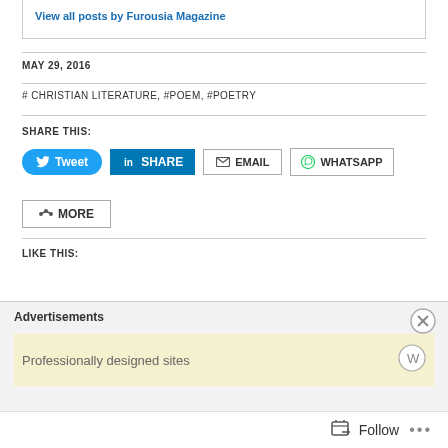View all posts by Furousia Magazine
MAY 29, 2016
# CHRISTIAN LITERATURE, #POEM, #POETRY
SHARE THIS:
[Figure (screenshot): Social share buttons: Tweet (Twitter), SHARE (LinkedIn), EMAIL, WHATSAPP, MORE]
LIKE THIS:
Advertisements
Professionally designed sites